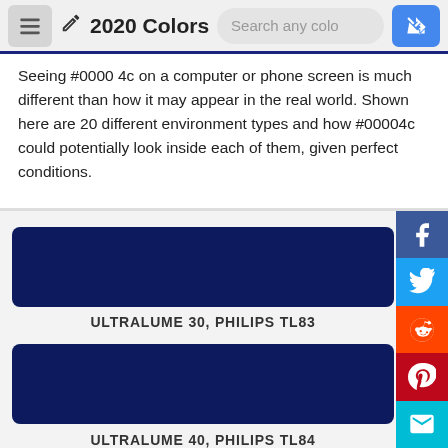2020 Colors — Search any color — navigation bar
Seeing #00004c on a computer or phone screen is much different than how it may appear in the real world. Shown here are 20 different environment types and how #00004c could potentially look inside each of them, given perfect conditions.
[Figure (other): Dark navy blue color swatch rectangle for ULTRALUME 30, PHILIPS TL83]
ULTRALUME 30, PHILIPS TL83
[Figure (other): Dark navy blue color swatch rectangle for ULTRALUME 40, PHILIPS TL84]
ULTRALUME 40, PHILIPS TL84